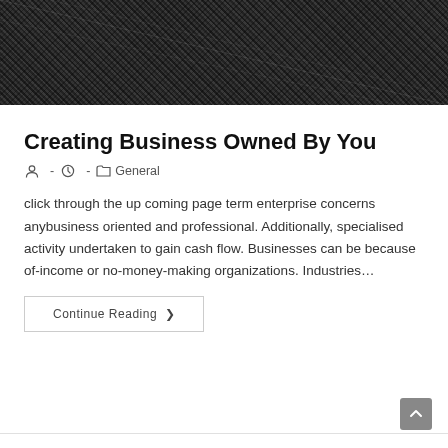[Figure (photo): Black and white photo showing the torso/lower body of a person wearing a dark textured suit jacket and pants]
Creating Business Owned By You
- -  General
click through the up coming page term enterprise concerns anybusiness oriented and professional. Additionally, specialised activity undertaken to gain cash flow. Businesses can be because of-income or no-money-making organizations. Industries…
Continue Reading ›